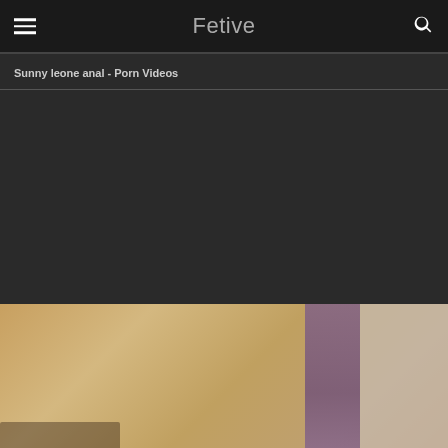Fetive
Sunny leone anal - Porn Videos
[Figure (photo): Partially visible photo at bottom of page]